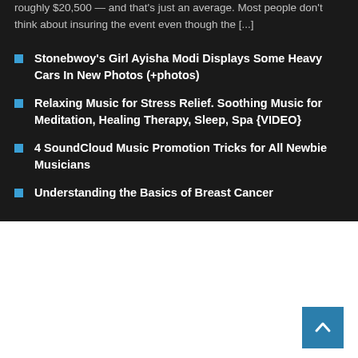roughly $20,500 — and that's just an average. Most people don't think about insuring the event even though the [...]
Stonebwoy's Girl Ayisha Modi Displays Some Heavy Cars In New Photos (+photos)
Relaxing Music for Stress Relief. Soothing Music for Meditation, Healing Therapy, Sleep, Spa {VIDEO}
4 SoundCloud Music Promotion Tricks for All Newbie Musicians
Understanding the Basics of Breast Cancer